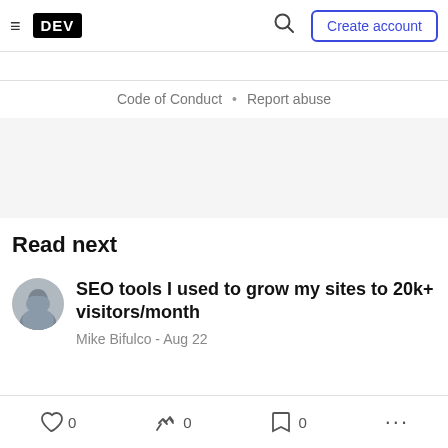DEV — Create account
Code of Conduct · Report abuse
🌙 Life is too short to browse without dark mode
Read next
SEO tools I used to grow my sites to 20k+ visitors/month
Mike Bifulco - Aug 22
0  0  0  ...